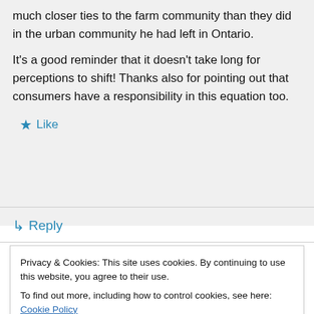much closer ties to the farm community than they did in the urban community he had left in Ontario.
It's a good reminder that it doesn't take long for perceptions to shift! Thanks also for pointing out that consumers have a responsibility in this equation too.
★ Like
↳ Reply
Privacy & Cookies: This site uses cookies. By continuing to use this website, you agree to their use.
To find out more, including how to control cookies, see here: Cookie Policy
Close and accept